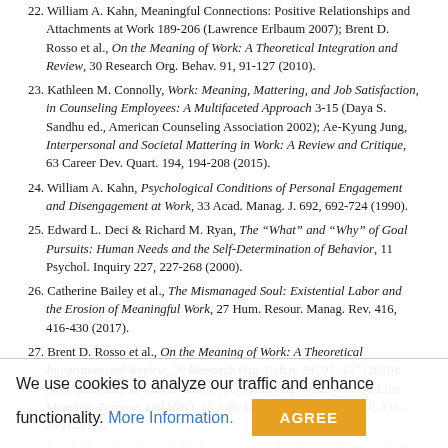22. William A. Kahn, Meaningful Connections: Positive Relationships and Attachments at Work 189-206 (Lawrence Erlbaum 2007); Brent D. Rosso et al., On the Meaning of Work: A Theoretical Integration and Review, 30 Research Org. Behav. 91, 91-127 (2010).
23. Kathleen M. Connolly, Work: Meaning, Mattering, and Job Satisfaction, in Counseling Employees: A Multifaceted Approach 3-15 (Daya S. Sandhu ed., American Counseling Association 2002); Ae-Kyung Jung, Interpersonal and Societal Mattering in Work: A Review and Critique, 63 Career Dev. Quart. 194, 194-208 (2015).
24. William A. Kahn, Psychological Conditions of Personal Engagement and Disengagement at Work, 33 Acad. Manag. J. 692, 692-724 (1990).
25. Edward L. Deci & Richard M. Ryan, The "What" and "Why" of Goal Pursuits: Human Needs and the Self-Determination of Behavior, 11 Psychol. Inquiry 227, 227-268 (2000).
26. Catherine Bailey et al., The Mismanaged Soul: Existential Labor and the Erosion of Meaningful Work, 27 Hum. Resour. Manag. Rev. 416, 416-430 (2017).
27. Brent D. Rosso et al., On the Meaning of Work: A Theoretical Integration and Review, 30 Research Org. Behav. 91, 91–127 (2010); Neal Chalofsky & Liz Cavallaro, A Good Living Versus a Good Life: Meaning, Purpose, and HRD, 15 Adv. Devel. Hum. Resour. 331, 331–340 (2013).
28. Frank Martela & Richard M. Ryan, Prosocial Behavior Increases Well-being and Vitality Even Without Contact With the Beneficiary: Causal and Behavioral Evidence, 40 Motiv. Emot. 351, 351-357 (2016).